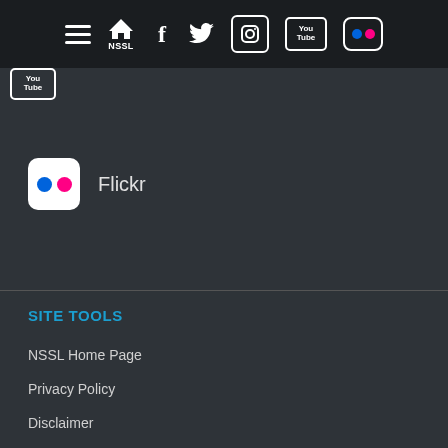Navigation bar with hamburger menu, NSSL home, Facebook, Twitter, Instagram, YouTube, Flickr icons
[Figure (screenshot): Partial YouTube icon box at top-left below nav bar]
Flickr
SITE TOOLS
NSSL Home Page
Privacy Policy
Disclaimer
Contact NSSL
Entries RSS
Comments RSS